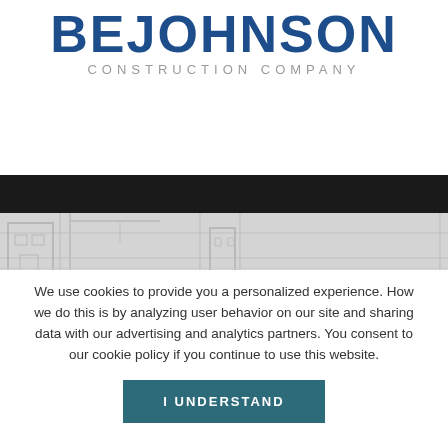[Figure (logo): BE JOHNSON CONSTRUCTION COMPANY logo — bold blue uppercase letters 'BEJOHNSON' with 'CONSTRUCTION COMPANY' in grey beneath]
[Figure (illustration): Black horizontal banner band followed by a light grey architectural blueprint/construction site illustration strip]
We use cookies to provide you a personalized experience. How we do this is by analyzing user behavior on our site and sharing data with our advertising and analytics partners. You consent to our cookie policy if you continue to use this website.
I UNDERSTAND